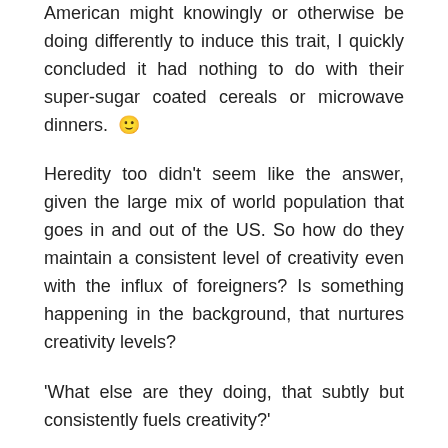American might knowingly or otherwise be doing differently to induce this trait, I quickly concluded it had nothing to do with their super-sugar coated cereals or microwave dinners. 🙂
Heredity too didn't seem like the answer, given the large mix of world population that goes in and out of the US. So how do they maintain a consistent level of creativity even with the influx of foreigners? Is something happening in the background, that nurtures creativity levels?
'What else are they doing, that subtly but consistently fuels creativity?'
I felt the answer might lie in the power of the right brain. We know the right brain is the seat of creativity. And which in turn controls, and is stimulated by, the